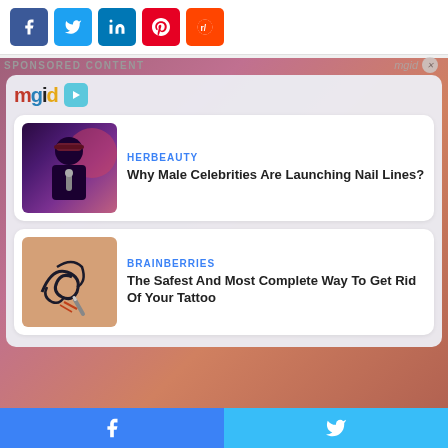[Figure (screenshot): Social media share buttons: Facebook (blue), Twitter (cyan), LinkedIn (blue), Pinterest (red), Reddit (orange)]
SPONSORED CONTENT
[Figure (logo): mgid logo with play button icon]
[Figure (screenshot): Article card: HERBEAUTY - Why Male Celebrities Are Launching Nail Lines? with thumbnail of man speaking into microphone]
[Figure (screenshot): Article card: BRAINBERRIES - The Safest And Most Complete Way To Get Rid Of Your Tattoo with thumbnail of tattoo removal]
[Figure (screenshot): Bottom bar with Facebook and Twitter share buttons]